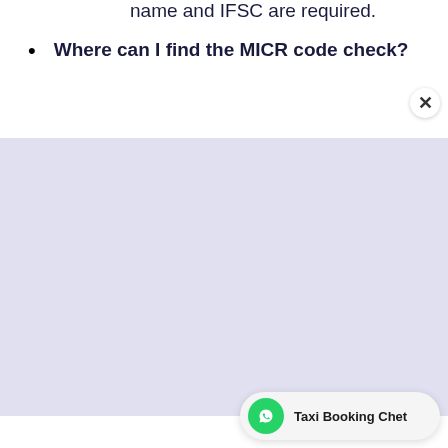name and IFSC are required.
Where can I find the MICR code check?
[Figure (screenshot): A large light blue-purple empty area, likely a screenshot placeholder or image area for a MICR code check diagram.]
Taxi Booking Chet